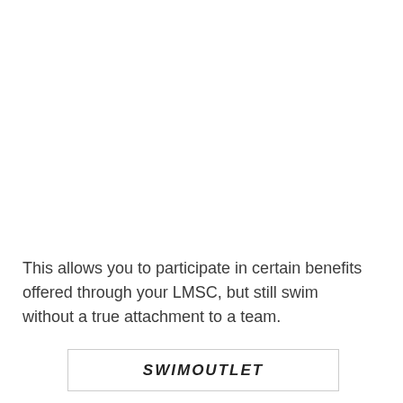This allows you to participate in certain benefits offered through your LMSC, but still swim without a true attachment to a team.
[Figure (logo): SwimOutlet logo in bold italic text within a bordered box]